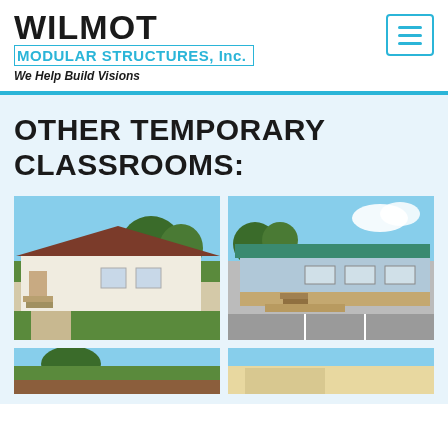[Figure (logo): Wilmot Modular Structures Inc. logo with tagline 'We Help Build Visions']
OTHER TEMPORARY CLASSROOMS:
[Figure (photo): White modular classroom building with wooden stairs and landscaping, sunny day]
[Figure (photo): Light blue modular classroom building with green metal roof and wooden stairs, parking lot]
[Figure (photo): Partial view of modular building, bottom of page left]
[Figure (photo): Partial view of modular building, bottom of page right]